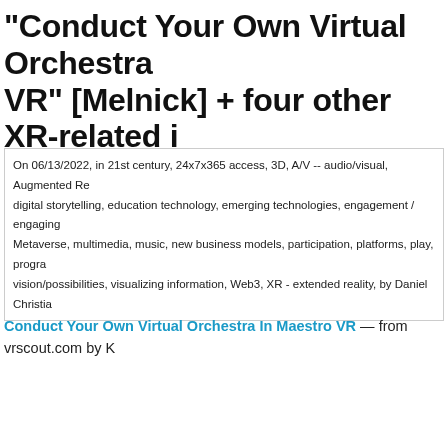"Conduct Your Own Virtual Orchestra VR" [Melnick] + four other XR-related i
On 06/13/2022, in 21st century, 24x7x365 access, 3D, A/V -- audio/visual, Augmented Re digital storytelling, education technology, emerging technologies, engagement / engaging Metaverse, multimedia, music, new business models, participation, platforms, play, progra vision/possibilities, visualizing information, Web3, XR - extended reality, by Daniel Christia
Conduct Your Own Virtual Orchestra In Maestro VR — from vrscout.com by K